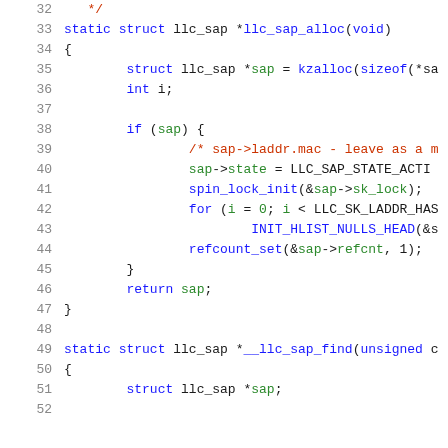Source code snippet showing C functions llc_sap_alloc and __llc_sap_find, lines 32-52